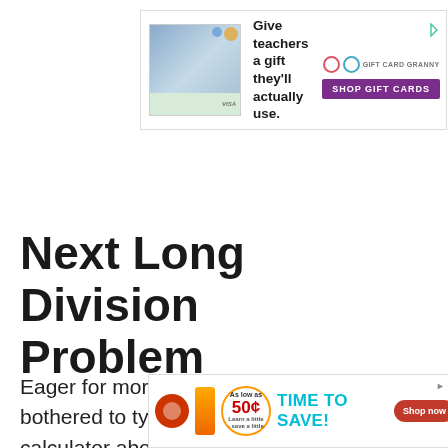[Figure (screenshot): Top advertisement banner: Gift Card Granny ad with group photo, text 'Give teachers a gift they'll actually use.' and 'SHOP GIFT CARDS' button]
Next Long Division Problem
Eager for more long division but can't be bothered to type two numbers into the calculator above? No worries. Here's the next problem for you to solve:
[Figure (screenshot): Bottom advertisement banner: 'As low as 50¢ TIME TO SAVE! Shop now' promotional ad]